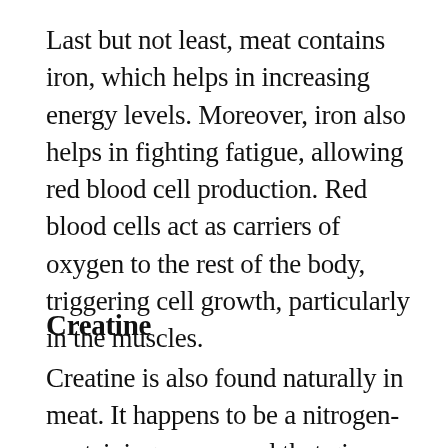Last but not least, meat contains iron, which helps in increasing energy levels. Moreover, iron also helps in fighting fatigue, allowing red blood cell production. Red blood cells act as carriers of oxygen to the rest of the body, triggering cell growth, particularly in the muscles.
Creatine
Creatine is also found naturally in meat. It happens to be a nitrogen-containing compound that gives muscles energy. Also, it facilitates the process of protein synthesis. This leads to positive growth in